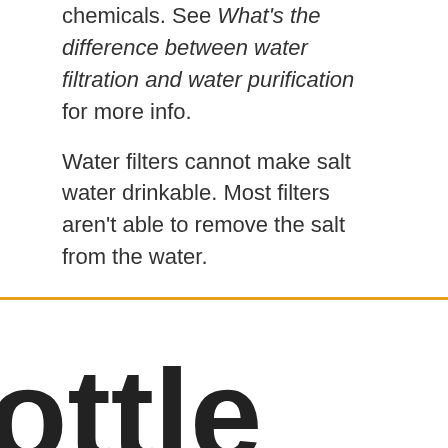chemicals. See What's the difference between water filtration and water purification for more info.
Water filters cannot make salt water drinkable. Most filters aren't able to remove the salt from the water.
ottle